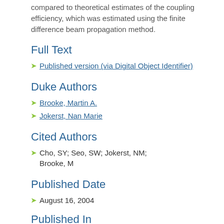compared to theoretical estimates of the coupling efficiency, which was estimated using the finite difference beam propagation method.
Full Text
Published version (via Digital Object Identifier)
Duke Authors
Brooke, Martin A.
Jokerst, Nan Marie
Cited Authors
Cho, SY; Seo, SW; Jokerst, NM; Brooke, M
Published Date
August 16, 2004
Published In